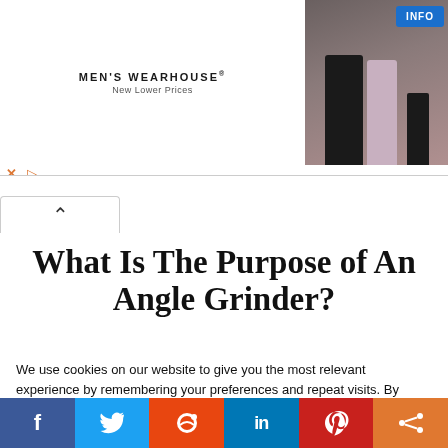[Figure (photo): Men's Wearhouse advertisement banner showing a couple in formalwear and a child in a suit, with an INFO button]
What Is The Purpose of An Angle Grinder?
This amazing tool is a great
We use cookies on our website to give you the most relevant experience by remembering your preferences and repeat visits. By clicking “Accept”, you consent to the use of ALL the cookies.
Do not sell my personal information.
Cookie Settings  Accept
[Figure (infographic): Social sharing bar with Facebook, Twitter, Reddit, LinkedIn, Pinterest, and share icons]